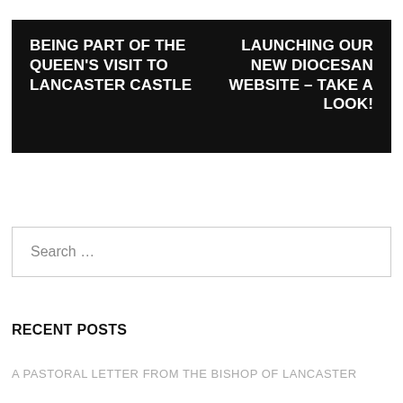BEING PART OF THE QUEEN'S VISIT TO LANCASTER CASTLE
LAUNCHING OUR NEW DIOCESAN WEBSITE – TAKE A LOOK!
Search …
RECENT POSTS
A PASTORAL LETTER FROM THE BISHOP OF LANCASTER